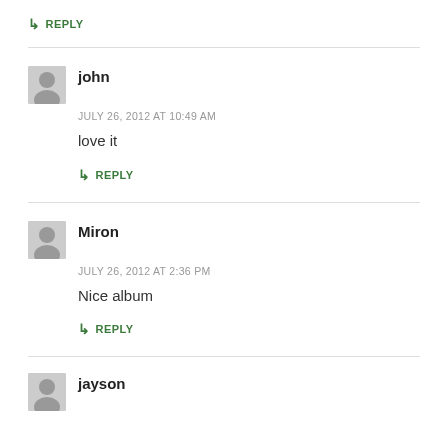↳ REPLY
john
JULY 26, 2012 AT 10:49 AM
love it
↳ REPLY
Miron
JULY 26, 2012 AT 2:36 PM
Nice album
↳ REPLY
jayson